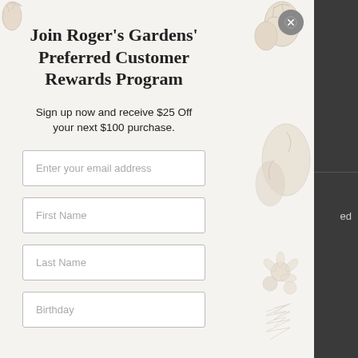[Figure (illustration): Botanical floral illustration in top-left corner, muted brown/sepia tones]
[Figure (illustration): Close button (X in circle) top right of modal]
Join Roger's Gardens' Preferred Customer Rewards Program
Sign up now and receive $25 Off your next $100 purchase.
[Figure (illustration): Botanical illustrations on the right side of the modal (flowers, leaves, produce) in sepia tones]
Enter your email address
First Name
Last Name
Birthday